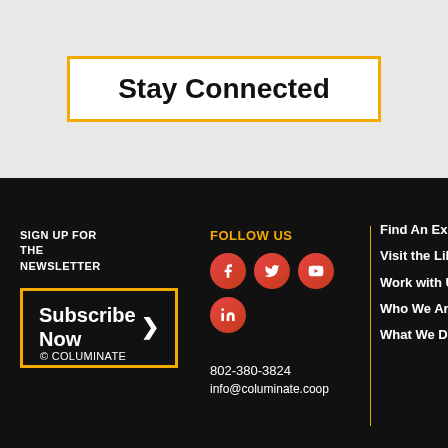Stay Connected
SIGN UP FOR THE NEWSLETTER
Subscribe Now
[Figure (infographic): Social media icons: Facebook, Twitter, YouTube, LinkedIn in red/orange circular buttons]
FOLLOW US
802-380-3824
info@columinate.coop
Find An Expert
Visit the Library
Work with Us
Who We Are
What We Do
© COLUMINATE